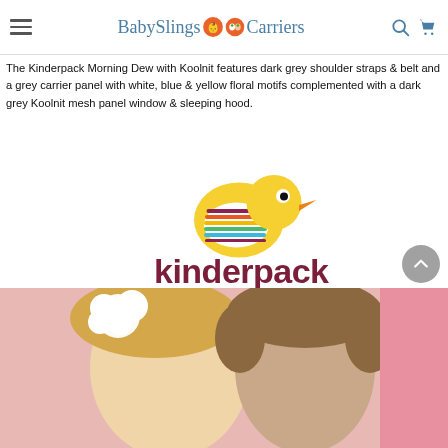BabySlings & Carriers
The Kinderpack Morning Dew with Koolnit features dark grey shoulder straps & belt and a grey carrier panel with white, blue & yellow floral motifs complemented with a dark grey Koolnit mesh panel window & sleeping hood.
[Figure (logo): Kinderpack logo featuring a yellow cartoon bird with colorful stripes and the text 'kinderpack' in dark maroon/brown lowercase letters]
[Figure (photo): Photo of two young children, one with a white flower headband and curly blonde hair, against a pink background]